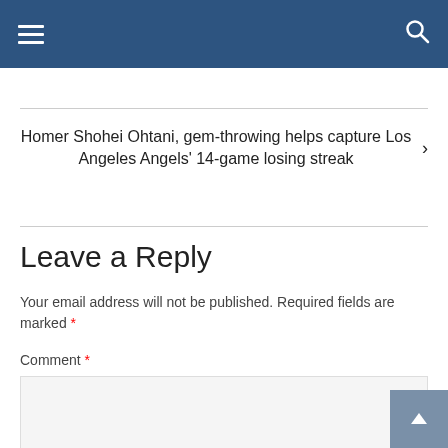Navigation bar with hamburger menu and search icon
Homer Shohei Ohtani, gem-throwing helps capture Los Angeles Angels' 14-game losing streak
Leave a Reply
Your email address will not be published. Required fields are marked *
Comment *